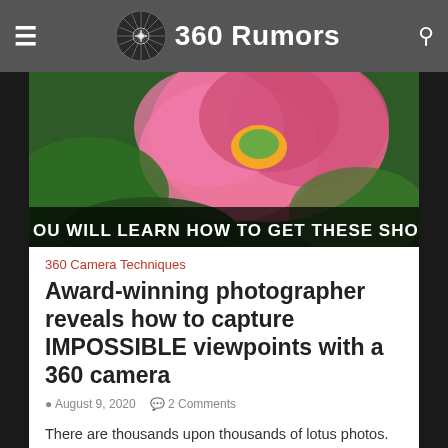360 Rumors
[Figure (photo): Lotus flower photo with text overlay reading 'OU WILL LEARN HOW TO GET THESE SHOTS SOO']
360 Camera Techniques
Award-winning photographer reveals how to capture IMPOSSIBLE viewpoints with a 360 camera
August 9, 2020   2 Comments
There are thousands upon thousands of lotus photos. How do you take one that stands out? Award-winning photographer Yuqing Guo captured stunning lotus photos…